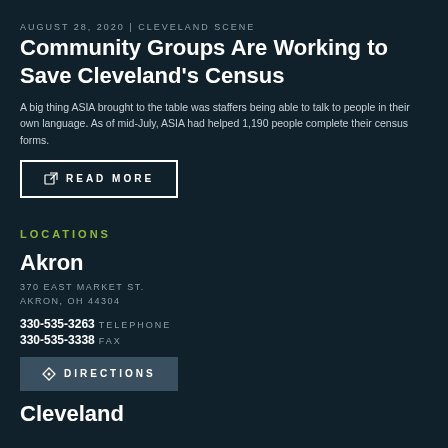AUGUST 28, 2020 | CLEVELAND SCENE
Community Groups Are Working to Save Cleveland's Census
A big thing ASIA brought to the table was staffers being able to talk to people in their own language. As of mid-July, ASIA had helped 1,190 people complete their census forms.
READ MORE
LOCATIONS
Akron
370 EAST MARKET ST.
AKRON, OH 44304
330-535-3263 TELEPHONE
330-535-3338 FAX
DIRECTIONS
Cleveland